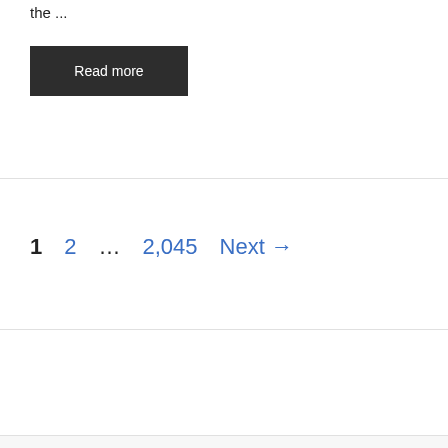the ...
Read more
1  2  ...  2,045  Next →